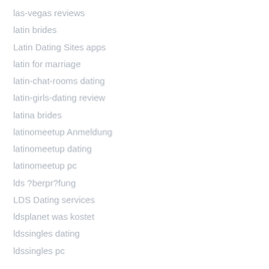las-vegas reviews
latin brides
Latin Dating Sites apps
latin for marriage
latin-chat-rooms dating
latin-girls-dating review
latina brides
latinomeetup Anmeldung
latinomeetup dating
latinomeetup pc
lds ?berpr?fung
LDS Dating services
ldsplanet was kostet
ldssingles dating
ldssingles pc